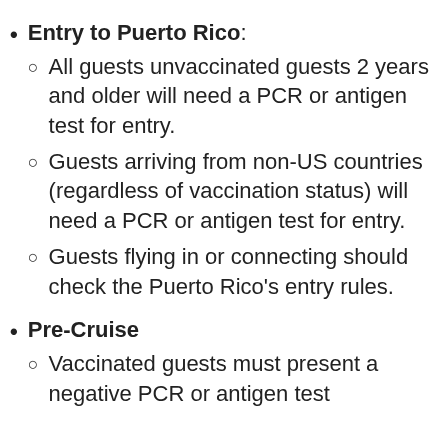Entry to Puerto Rico:
All guests unvaccinated guests 2 years and older will need a PCR or antigen test for entry.
Guests arriving from non-US countries (regardless of vaccination status) will need a PCR or antigen test for entry.
Guests flying in or connecting should check the Puerto Rico's entry rules.
Pre-Cruise
Vaccinated guests must present a negative PCR or antigen test